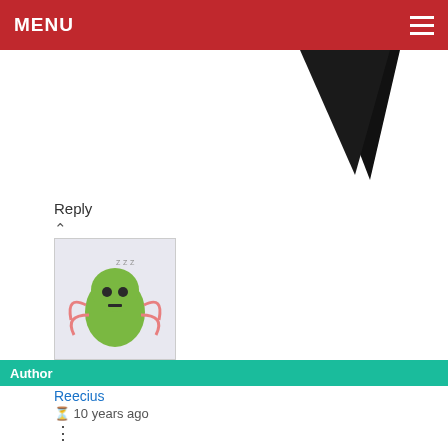MENU
[Figure (illustration): Decorative black fangs/spikes pointing downward against white background]
Reply
[Figure (illustration): Avatar image of a cartoon green ghost monster with tentacles on light blue background]
Author
Reecius
10 years ago
Reply to Axientar
No word on that yet, but let's hope it's the man himself, Phil Kelly!